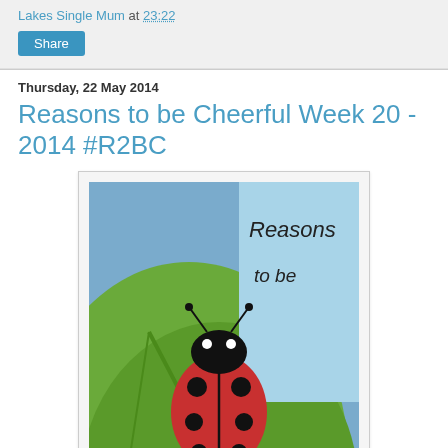Lakes Single Mum at 23:22
Share
Thursday, 22 May 2014
Reasons to be Cheerful Week 20 - 2014 #R2BC
[Figure (photo): A photo of a ladybird/ladybug on a green leaf with handwritten text overlay reading 'Reasons to be Cheerful']
A dozen lovely bloggers joining in last week thanks everyone! Hope it makes you smile to read about all the the